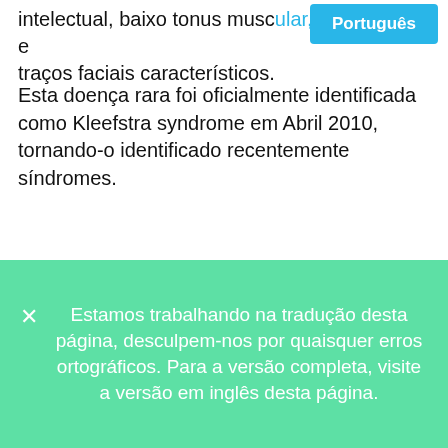intelectual, baixo tonus muscular, convulsões e traços faciais característicos.
[Figure (other): Blue language selector button labeled 'Português']
Esta doença rara foi oficialmente identificada como Kleefstra syndrome em Abril 2010, tornando-o identificado recentemente síndromes.
Síndromes Sinônimos:
9 q Exclusão subtelomérica Síndromes 9 q- Sínd...
✕  Estamos trabalhando na tradução desta página, desculpem-nos por quaisquer erros ortográficos. Para a versão completa, visite a versão em inglês desta página.